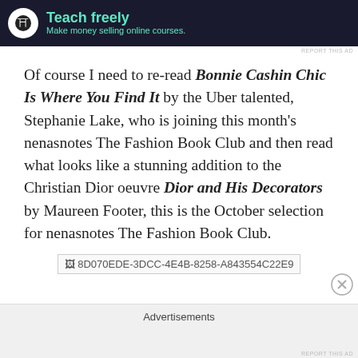[Figure (screenshot): Dark advertisement banner with teal/cyan text reading 'Teach freely' and subtitle 'Make money selling online courses.' with a white circular icon on the left.]
Of course I need to re-read Bonnie Cashin Chic Is Where You Find It by the Uber talented, Stephanie Lake, who is joining this month's nenasnotes The Fashion Book Club and then read what looks like a stunning addition to the Christian Dior oeuvre Dior and His Decorators by Maureen Footer, this is the October selection for nenasnotes The Fashion Book Club.
[Figure (other): Broken image placeholder labeled '8D070EDE-3DCC-4E4B-8258-A843554C22E9']
Advertisements